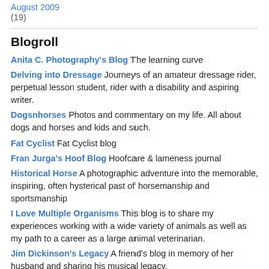August 2009 (19)
Blogroll
Anita C. Photography's Blog The learning curve
Delving into Dressage Journeys of an amateur dressage rider, perpetual lesson student, rider with a disability and aspiring writer.
Dogsnhorses Photos and commentary on my life. All about dogs and horses and kids and such.
Fat Cyclist Fat Cyclist blog
Fran Jurga's Hoof Blog Hoofcare & lameness journal
Historical Horse A photographic adventure into the memorable, inspiring, often hysterical past of horsemanship and sportsmanship
I Love Multiple Organisms This blog is to share my experiences working with a wide variety of animals as well as my path to a career as a large animal veterinarian.
Jim Dickinson's Legacy A friend's blog in memory of her husband and sharing his musical legacy.
Our fight against melanoma- John's caring bridge site Our fight against